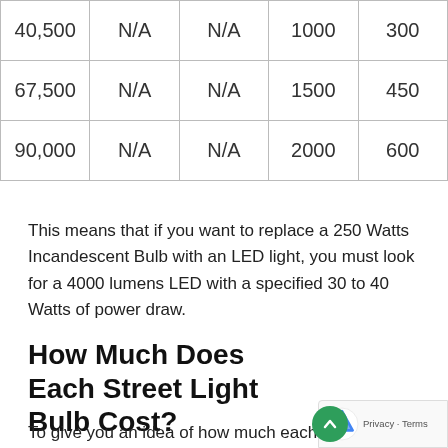| 40,500 | N/A | N/A | 1000 | 300 |
| 67,500 | N/A | N/A | 1500 | 450 |
| 90,000 | N/A | N/A | 2000 | 600 |
This means that if you want to replace a 250 Watts Incandescent Bulb with an LED light, you must look for a 4000 lumens LED with a specified 30 to 40 Watts of power draw.
How Much Does Each Street Light Bulb Cost?
To give you an idea of how much each type o...